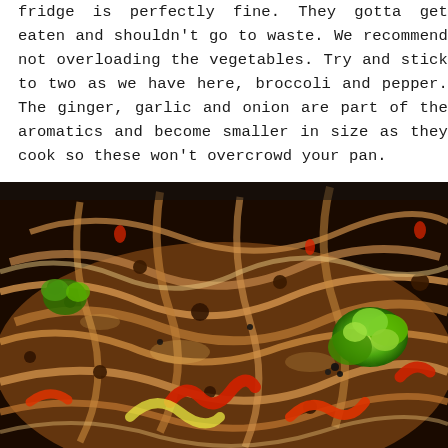fridge is perfectly fine. They gotta get eaten and shouldn't go to waste. We recommend not overloading the vegetables. Try and stick to two as we have here, broccoli and pepper. The ginger, garlic and onion are part of the aromatics and become smaller in size as they cook so these won't overcrowd your pan.
[Figure (photo): Close-up photo of a stir-fry dish in a dark pan or wok, showing rice noodles, broccoli, red bell pepper strips, ground meat, and other vegetables tossed together with a savory brown sauce.]